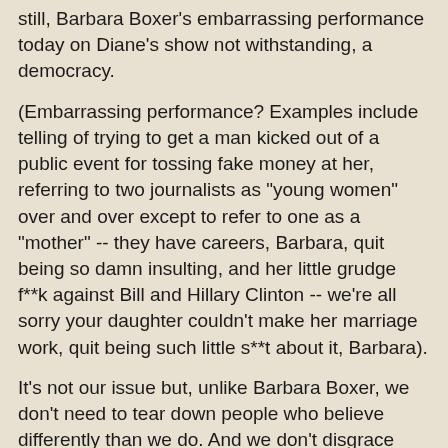still, Barbara Boxer's embarrassing performance today on Diane's show not withstanding, a democracy.
(Embarrassing performance? Examples include telling of trying to get a man kicked out of a public event for tossing fake money at her, referring to two journalists as "young women" over and over except to refer to one as a "mother" -- they have careers, Barbara, quit being so damn insulting, and her little grudge f**k against Bill and Hillary Clinton -- we're all sorry your daughter couldn't make her marriage work, quit being such little s**t about it, Barbara).
It's not our issue but, unlike Barbara Boxer, we don't need to tear down people who believe differently than we do. And we don't disgrace ourselves by coming off like a raving lunatic on NPR or, for that matter, by co-writing one book that bombed and inflicting another bad attempt at John Grisham on the American public. And someone who wants to lecture others on facts, should have them. Including on the name of the Feminist Majority Foundation. It's not a difficult name to remember, Barbara. But it's not difficult to follow the headlines and, as her Iraq answer revealed, she can't even do that. And then we see the attempts to restate side-by-side...